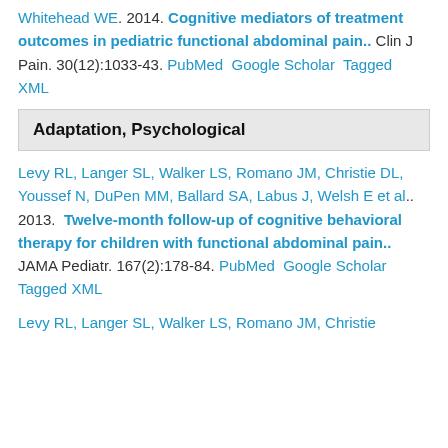Whitehead WE. 2014. Cognitive mediators of treatment outcomes in pediatric functional abdominal pain.. Clin J Pain. 30(12):1033-43. PubMed Google Scholar Tagged XML
Adaptation, Psychological
Levy RL, Langer SL, Walker LS, Romano JM, Christie DL, Youssef N, DuPen MM, Ballard SA, Labus J, Welsh E et al.. 2013. Twelve-month follow-up of cognitive behavioral therapy for children with functional abdominal pain.. JAMA Pediatr. 167(2):178-84. PubMed Google Scholar Tagged XML
Levy RL, Langer SL, Walker LS, Romano JM, Christie